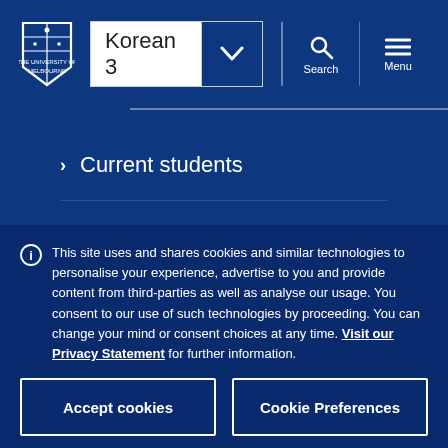[Figure (logo): University of Melbourne crest/logo in white on dark blue background]
Korean 3
Current students
Staff
This site uses and shares cookies and similar technologies to personalise your experience, advertise to you and provide content from third-parties as well as analyse our usage. You consent to our use of such technologies by proceeding. You can change your mind or consent choices at any time. Visit our Privacy Statement for further information.
Accept cookies
Cookie Preferences